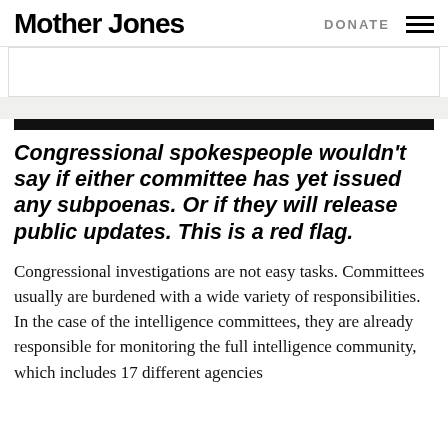Mother Jones | DONATE
Congressional spokespeople wouldn't say if either committee has yet issued any subpoenas. Or if they will release public updates. This is a red flag.
Congressional investigations are not easy tasks. Committees usually are burdened with a wide variety of responsibilities. In the case of the intelligence committees, they are already responsible for monitoring the full intelligence community, which includes 17 different agencies